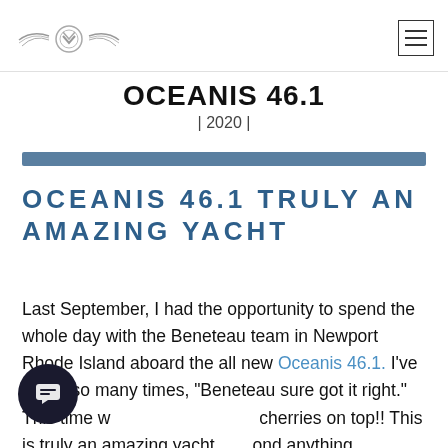OCEANIS 46.1 | 2020 |
OCEANIS 46.1 TRULY AN AMAZING YACHT
Last September, I had the opportunity to spend the whole day with the Beneteau team in Newport Rhode Island aboard the all new Oceanis 46.1. I've heard so many times, "Beneteau sure got it right." This time w…cherries on top!! This is truly an amazing yacht, …ond anything Beneteau has done to date and as a world leader in technology and design by Pascal